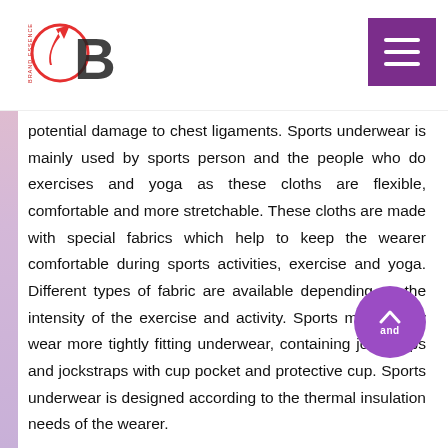Brand Essence logo and hamburger menu
potential damage to chest ligaments. Sports underwear is mainly used by sports person and the people who do exercises and yoga as these cloths are flexible, comfortable and more stretchable. These cloths are made with special fabrics which help to keep the wearer comfortable during sports activities, exercise and yoga. Different types of fabric are available depending on the intensity of the exercise and activity. Sports men mainly wear more tightly fitting underwear, containing jockstraps and jockstraps with cup pocket and protective cup. Sports underwear is designed according to the thermal insulation needs of the wearer.
The regions covered in this Oil Country Tubular